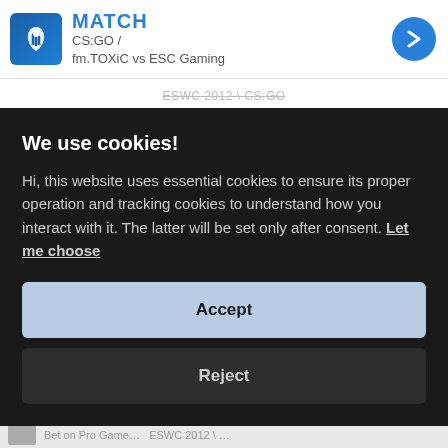MATCH
CS:GO /
fm.TOXiC vs ESC Gaming
ESWC 2012 \ CS:GO
2012-11-03 09:30:00
STATS
We use cookies!
Hi, this website uses essential cookies to ensure its proper operation and tracking cookies to understand how you interact with it. The latter will be set only after consent. Let me choose
Accept
Reject